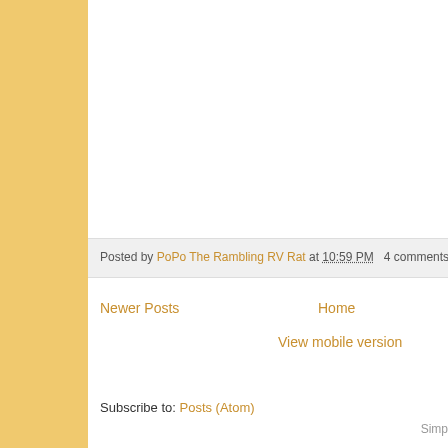Posted by PoPo The Rambling RV Rat at 10:59 PM   4 comments:  M
Newer Posts
Home
View mobile version
Subscribe to: Posts (Atom)
Simp